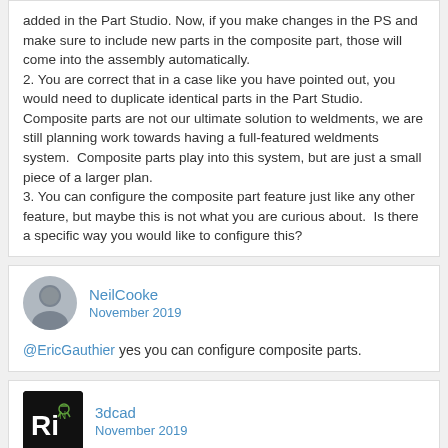added in the Part Studio. Now, if you make changes in the PS and make sure to include new parts in the composite part, those will come into the assembly automatically.
2. You are correct that in a case like you have pointed out, you would need to duplicate identical parts in the Part Studio. Composite parts are not our ultimate solution to weldments, we are still planning work towards having a full-featured weldments system.  Composite parts play into this system, but are just a small piece of a larger plan.
3. You can configure the composite part feature just like any other feature, but maybe this is not what you are curious about.  Is there a specific way you would like to configure this?
NeilCooke
November 2019
@EricGauthier yes you can configure composite parts.
3dcad
November 2019